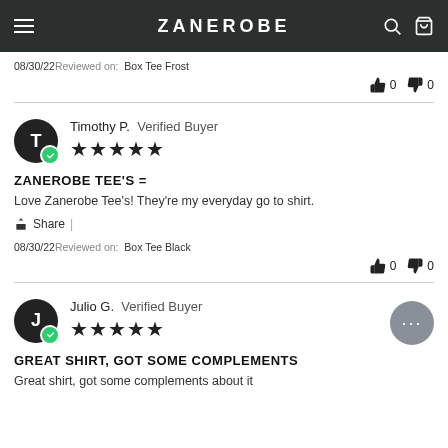ZANEROBE
08/30/22 Reviewed on: Box Tee Frost
👍 0  👎 0
Timothy P.  Verified Buyer  ★★★★★
ZANEROBE TEE'S =
Love Zanerobe Tee's! They're my everyday go to shirt.
Share |
08/30/22 Reviewed on: Box Tee Black
👍 0  👎 0
Julio G.  Verified Buyer  ★★★★★
GREAT SHIRT, GOT SOME COMPLEMENTS
Great shirt, got some complements about it